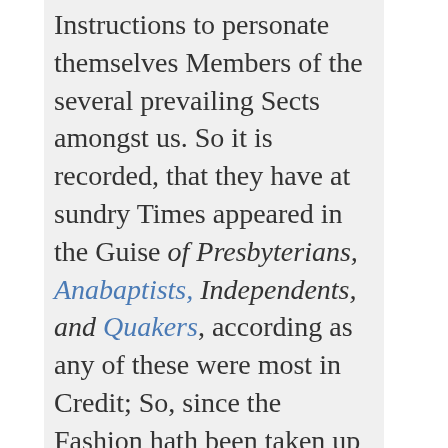Instructions to personate themselves Members of the several prevailing Sects amongst us. So it is recorded, that they have at sundry Times appeared in the Guise of Presbyterians, Anabaptists, Independents, and Quakers, according as any of these were most in Credit; So, since the Fashion hath been taken up of exploding Religion, the Popish Missionaries have not been wanting to mix with the Free-Thinkers; among whom Toland the great Oracle of the Anti-Christians is an Irish Priest, the Son of an Irish Priest; and the most learned and ingenious Author of a Book called the Rights of the